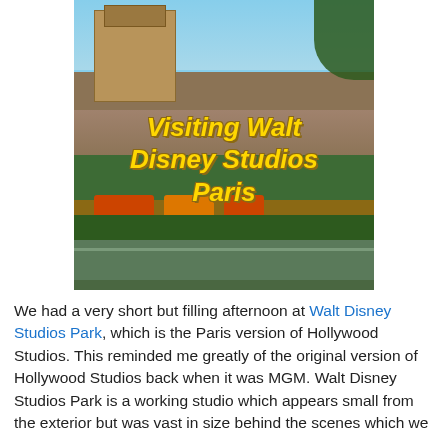[Figure (photo): Photo of Walt Disney Studios Park in Paris showing a garden area with colorful flower beds, hedges, a statue, and the Hollywood Tower Hotel in the background. Overlaid text reads 'Visiting Walt Disney Studios Paris' in bold yellow italic lettering.]
We had a very short but filling afternoon at Walt Disney Studios Park, which is the Paris version of Hollywood Studios. This reminded me greatly of the original version of Hollywood Studios back when it was MGM. Walt Disney Studios Park is a working studio which appears small from the exterior but was vast in size behind the scenes which we